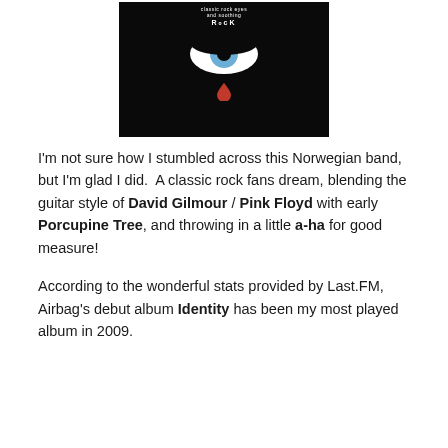[Figure (photo): Album cover with black background, a stylized blue eye in the center and a red teardrop below it, with 'RocK' text label at the top]
I'm not sure how I stumbled across this Norwegian band, but I'm glad I did.  A classic rock fans dream, blending the guitar style of David Gilmour / Pink Floyd with early Porcupine Tree, and throwing in a little a-ha for good measure!
According to the wonderful stats provided by Last.FM, Airbag's debut album Identity has been my most played album in 2009.